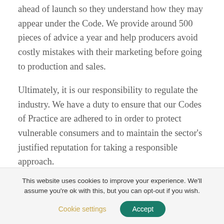ahead of launch so they understand how they may appear under the Code. We provide around 500 pieces of advice a year and help producers avoid costly mistakes with their marketing before going to production and sales.
Ultimately, it is our responsibility to regulate the industry. We have a duty to ensure that our Codes of Practice are adhered to in order to protect vulnerable consumers and to maintain the sector's justified reputation for taking a responsible approach.
This website uses cookies to improve your experience. We'll assume you're ok with this, but you can opt-out if you wish.
Cookie settings    Accept